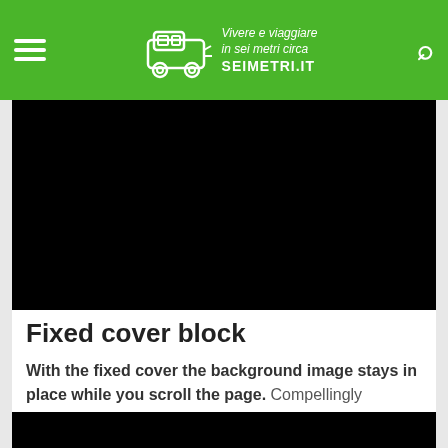Vivere e viaggiare in sei metri circa — SEIMETRI.IT
[Figure (photo): Black rectangular image block at top of page content area]
Fixed cover block
With the fixed cover the background image stays in place while you scroll the page. Compellingly generate economically sound partnerships before optimal meta-services. Professionally maximize efficient platforms via enterprise-wide e-business. Quickly promote highly efficient vortals.
[Figure (photo): Black rectangular image block at bottom of page]